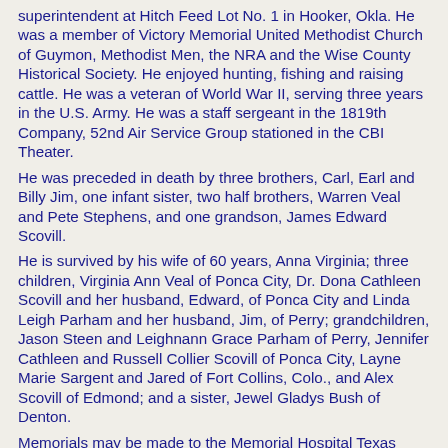superintendent at Hitch Feed Lot No. 1 in Hooker, Okla. He was a member of Victory Memorial United Methodist Church of Guymon, Methodist Men, the NRA and the Wise County Historical Society. He enjoyed hunting, fishing and raising cattle. He was a veteran of World War II, serving three years in the U.S. Army. He was a staff sergeant in the 1819th Company, 52nd Air Service Group stationed in the CBI Theater.
He was preceded in death by three brothers, Carl, Earl and Billy Jim, one infant sister, two half brothers, Warren Veal and Pete Stephens, and one grandson, James Edward Scovill.
He is survived by his wife of 60 years, Anna Virginia; three children, Virginia Ann Veal of Ponca City, Dr. Dona Cathleen Scovill and her husband, Edward, of Ponca City and Linda Leigh Parham and her husband, Jim, of Perry; grandchildren, Jason Steen and Leighnann Grace Parham of Perry, Jennifer Cathleen and Russell Collier Scovill of Ponca City, Layne Marie Sargent and Jared of Fort Collins, Colo., and Alex Scovill of Edmond; and a sister, Jewel Gladys Bush of Denton.
Memorials may be made to the Memorial Hospital Texas County Hospice, Hospice of North Central Oklahoma 1904 N. Union, Suite 103 Ponca City, Okla. 74601, Victory Memorial United Methodist Church Children's Ministries, or